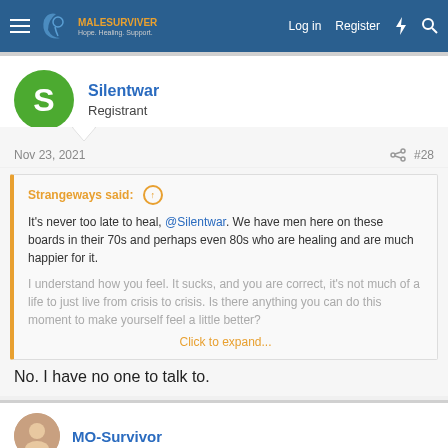MaleSurvivor — Hope. Healing. Support. | Log in | Register
Silentwar
Registrant
Nov 23, 2021  #28
Strangeways said: ↑ It's never too late to heal, @Silentwar. We have men here on these boards in their 70s and perhaps even 80s who are healing and are much happier for it. I understand how you feel. It sucks, and you are correct, it's not much of a life to just live from crisis to crisis. Is there anything you can do this moment to make yourself feel a little better? Click to expand...
No. I have no one to talk to.
MO-Survivor